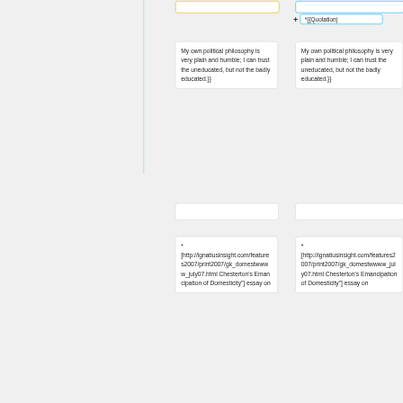*{{Quotation|
My own political philosophy is very plain and humble; I can trust the uneducated, but not the badly educated.}}
My own political philosophy is very plain and humble; I can trust the uneducated, but not the badly educated.}}
* [http://ignatiusinsight.com/features2007/print2007/gk_domestwwww_july07.html Chesterton's Emancipation of Domesticity"] essay on
* [http://ignatiusinsight.com/features2007/print2007/gk_domestwwww_july07.html Chesterton's Emancipation of Domesticity"] essay on